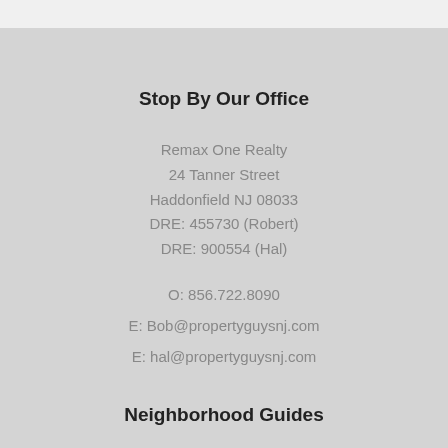Stop By Our Office
Remax One Realty
24 Tanner Street
Haddonfield NJ 08033
DRE: 455730 (Robert)
DRE: 900554 (Hal)
O: 856.722.8090
E: Bob@propertyguysnj.com
E: hal@propertyguysnj.com
Neighborhood Guides